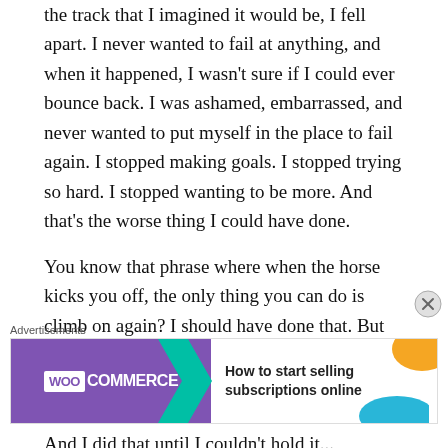the track that I imagined it would be, I fell apart. I never wanted to fail at anything, and when it happened, I wasn't sure if I could ever bounce back. I was ashamed, embarrassed, and never wanted to put myself in the place to fail again. I stopped making goals. I stopped trying so hard. I stopped wanting to be more. And that's the worse thing I could have done.
You know that phrase where when the horse kicks you off, the only thing you can do is climb on again? I should have done that. But instead, I wallowed in self-pity with my tail tucked between my legs. I didn't want to put myself in the place where I could fail again. And I did that until I couldn't hold it...
[Figure (other): WooCommerce advertisement banner with purple background, green arrow, and text 'How to start selling subscriptions online']